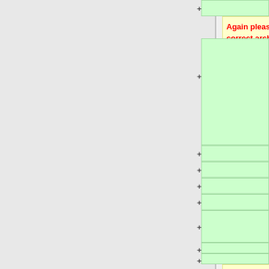Again please take special care to select the correct architecture during the installation.
== Boost ==
* Objectives:
** Compile boost libraries
The next step will consist in compile Boost. Kratos Multiphysics needs Boost libraries to support some of its functions. You can use any version from